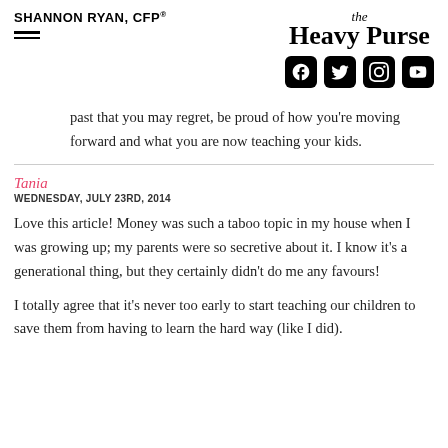SHANNON RYAN, CFP® — The Heavy Purse
past that you may regret, be proud of how you're moving forward and what you are now teaching your kids.
Tania
WEDNESDAY, JULY 23RD, 2014
Love this article! Money was such a taboo topic in my house when I was growing up; my parents were so secretive about it. I know it's a generational thing, but they certainly didn't do me any favours!
I totally agree that it's never too early to start teaching our children to save them from having to learn the hard way (like I did).